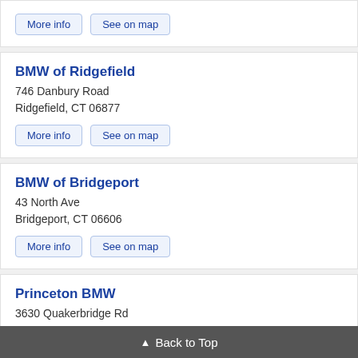BMW of Ridgefield
746 Danbury Road
Ridgefield, CT 06877
BMW of Bridgeport
43 North Ave
Bridgeport, CT 06606
Princeton BMW
3630 Quakerbridge Rd
Trenton, NJ 08619
Back to Top